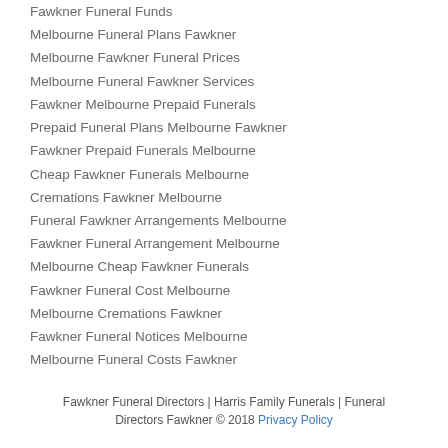Fawkner Funeral Funds
Melbourne Funeral Plans Fawkner
Melbourne Fawkner Funeral Prices
Melbourne Funeral Fawkner Services
Fawkner Melbourne Prepaid Funerals
Prepaid Funeral Plans Melbourne Fawkner
Fawkner Prepaid Funerals Melbourne
Cheap Fawkner Funerals Melbourne
Cremations Fawkner Melbourne
Funeral Fawkner Arrangements Melbourne
Fawkner Funeral Arrangement Melbourne
Melbourne Cheap Fawkner Funerals
Fawkner Funeral Cost Melbourne
Melbourne Cremations Fawkner
Fawkner Funeral Notices Melbourne
Melbourne Funeral Costs Fawkner
Fawkner Funeral Directors | Harris Family Funerals | Funeral Directors Fawkner © 2018 Privacy Policy